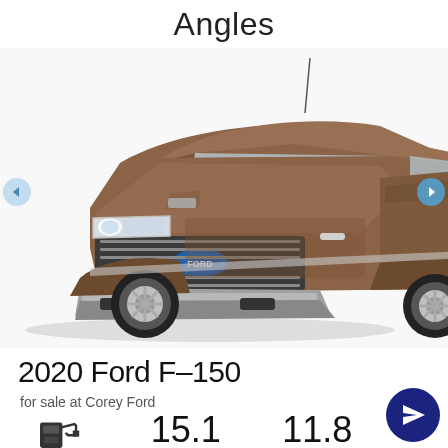Angles
[Figure (photo): 2020 Ford F-150 truck in bronze/brown color shown from front-side angle (main large image) and rear-side angle (partial image on right side). Navigation arrows visible on left and right.]
2020 Ford F-150
for sale at Corey Ford
[Figure (infographic): Fuel pump icon on left, fuel economy stat 15.1 in center, fuel economy stat 11.8 on right, send/share button icon bottom right]
15.1
11.8